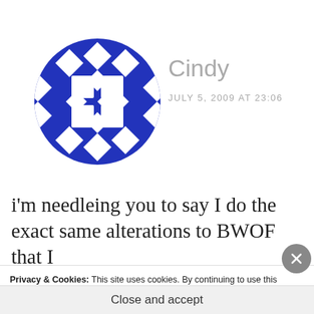[Figure (logo): Blue geometric quilt-pattern avatar icon, circular with diamond and square shapes in blue and white]
Cindy
JULY 5, 2009 AT 23:06
i'm needleing you to say I do the exact same alterations to BWOF that I (truncated)
Privacy & Cookies: This site uses cookies. By continuing to use this website, you agree to their use.
To find out more, including how to control cookies, see here: Cookie Policy
Close and accept